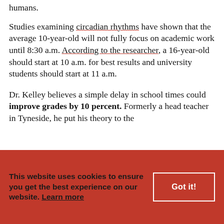times so that they can fit within the natural sleep of humans.
Studies examining circadian rhythms have shown that the average 10-year-old will not fully focus on academic work until 8:30 a.m. According to the researcher, a 16-year-old should start at 10 a.m. for best results and university students should start at 11 a.m.
Dr. Kelley believes a simple delay in school times could improve grades by 10 percent. Formerly a head teacher in Tyneside, he put his theory to the
This website uses cookies to ensure you get the best experience on our website. Learn more
Got it!